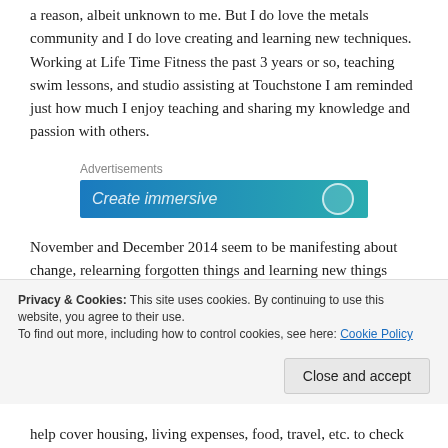a reason, albeit unknown to me. But I do love the metals community and I do love creating and learning new techniques. Working at Life Time Fitness the past 3 years or so, teaching swim lessons, and studio assisting at Touchstone I am reminded just how much I enjoy teaching and sharing my knowledge and passion with others.
[Figure (screenshot): Advertisement banner with gradient blue-teal background showing partial text 'Create immersive' in italic white font with a circle icon on the right.]
November and December 2014 seem to be manifesting about change, relearning forgotten things and learning new things about myself. A chance to gear up, see what I'm capable of and push myself to new levels.
Privacy & Cookies: This site uses cookies. By continuing to use this website, you agree to their use.
To find out more, including how to control cookies, see here: Cookie Policy
help cover housing, living expenses, food, travel, etc. to check